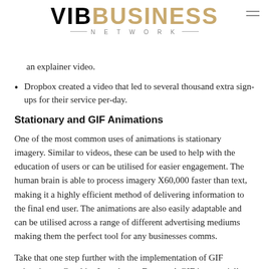VIBUSINESS NETWORK
an explainer video.
Dropbox created a video that led to several thousand extra sign-ups for their service per-day.
Stationary and GIF Animations
One of the most common uses of animations is stationary imagery. Similar to videos, these can be used to help with the education of users or can be utilised for easier engagement. The human brain is able to process imagery X60,000 faster than text, making it a highly efficient method of delivering information to the final end user. The animations are also easily adaptable and can be utilised across a range of different advertising mediums making them the perfect tool for any businesses comms.
Take that one step further with the implementation of GIF animation or Graphics Interchange Format. A GIF is essentially an animated image which showcases a short 5 second clip on repeat. The moving image makes this form of animation